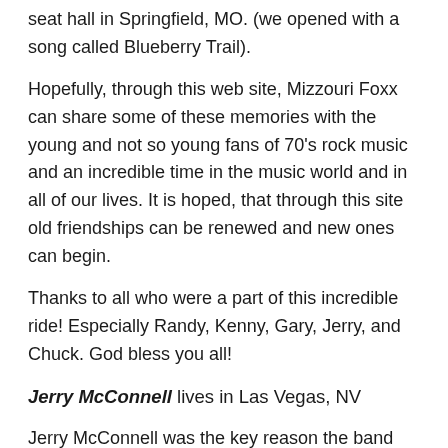seat hall in Springfield, MO. (we opened with a song called Blueberry Trail).
Hopefully, through this web site, Mizzouri Foxx can share some of these memories with the young and not so young fans of 70's rock music and an incredible time in the music world and in all of our lives. It is hoped, that through this site old friendships can be renewed and new ones can begin.
Thanks to all who were a part of this incredible ride! Especially Randy, Kenny, Gary, Jerry, and Chuck. God bless you all!
Jerry McConnell lives in Las Vegas, NV
Jerry McConnell was the key reason the band enjoyed a thirteen year career in music. As those who have travelled down the rock band pathway know, you NEED